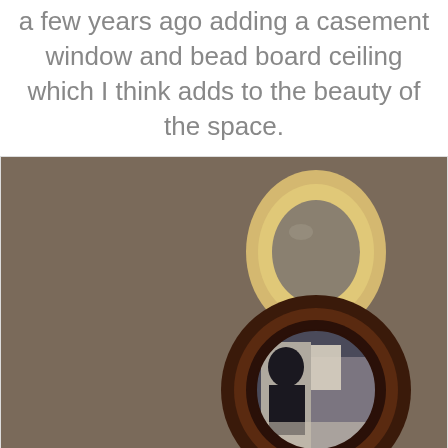a few years ago adding a casement window and bead board ceiling which I think adds to the beauty of the space.
[Figure (photo): Interior room photo showing two round mirrors hung on a dark taupe wall. A smaller cream/yellow oval mirror hangs above a larger dark wood circular mirror. To the right, a rolled map hangs from a dark curtain rod.]